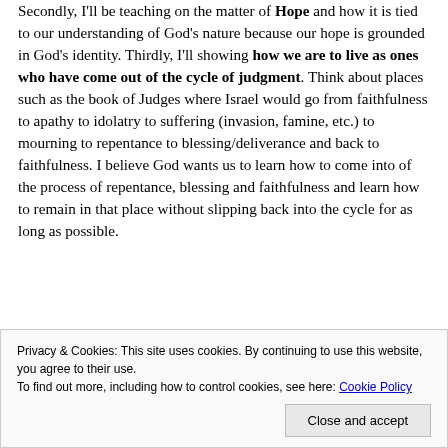Secondly, I'll be teaching on the matter of Hope and how it is tied to our understanding of God's nature because our hope is grounded in God's identity. Thirdly, I'll showing how we are to live as ones who have come out of the cycle of judgment. Think about places such as the book of Judges where Israel would go from faithfulness to apathy to idolatry to suffering (invasion, famine, etc.) to mourning to repentance to blessing/deliverance and back to faithfulness. I believe God wants us to learn how to come into of the process of repentance, blessing and faithfulness and learn how to remain in that place without slipping back into the cycle for as long as possible.
Privacy & Cookies: This site uses cookies. By continuing to use this website, you agree to their use. To find out more, including how to control cookies, see here: Cookie Policy
Close and accept